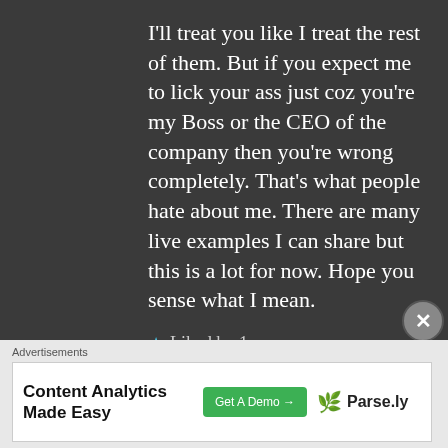I'll treat you like I treat the rest of them. But if you expect me to lick your ass just coz you're my Boss or the CEO of the company then you're wrong completely. That's what people hate about me. There are many live examples I can share but this is a lot for now. Hope you sense what I mean.
★ Liked by 1 person
Advertisements
[Figure (other): Advertisement banner for Parse.ly: 'Content Analytics Made Easy' with a green 'Get A Demo →' button and Parse.ly logo]